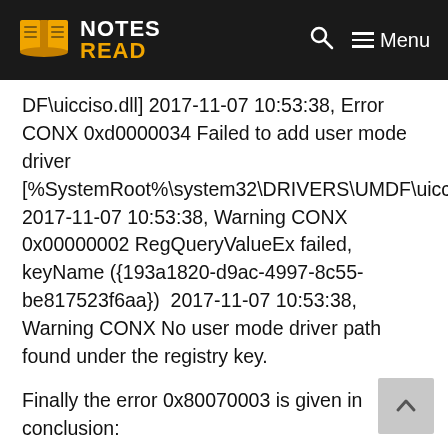NOTES READ — Menu
DF\uicciso.dll] 2017-11-07 10:53:38, Error CONX 0xd0000034 Failed to add user mode driver [%SystemRoot%\system32\DRIVERS\UMDF\uicciso.dll  2017-11-07 10:53:38, Warning CONX 0x00000002 RegQueryValueEx failed, keyName ({193a1820-d9ac-4997-8c55-be817523f6aa})  2017-11-07 10:53:38, Warning CONX No user mode driver path found under the registry key.
Finally the error 0x80070003 is given in conclusion: